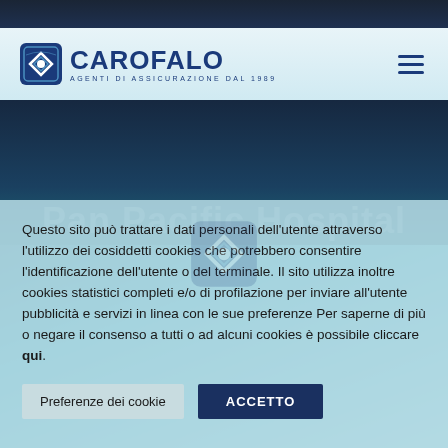[Figure (logo): Carofalo insurance agency logo with icon and text 'CAROFALO AGENTI DI ASSICURAZIONE DAL 1989']
[Figure (screenshot): Partially visible hero section with large white text 'Pan Pacific Hospital' obscured by cookie consent overlay]
Questo sito può trattare i dati personali dell'utente attraverso l'utilizzo dei cosiddetti cookies che potrebbero consentire l'identificazione dell'utente o del terminale. Il sito utilizza inoltre cookies statistici completi e/o di profilazione per inviare all'utente pubblicità e servizi in linea con le sue preferenze Per saperne di più o negare il consenso a tutti o ad alcuni cookies è possibile cliccare qui.
Preferenze dei cookie
ACCETTO